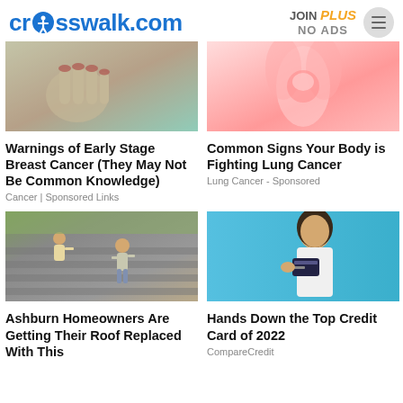crosswalk.com | JOIN PLUS NO ADS
[Figure (photo): Close-up of a woman's hand with red nails touching her chest/breast area - medical article image]
Warnings of Early Stage Breast Cancer (They May Not Be Common Knowledge)
Cancer | Sponsored Links
[Figure (photo): Medical image showing redness/inflammation around a joint area - lung cancer article image]
Common Signs Your Body is Fighting Lung Cancer
Lung Cancer - Sponsored
[Figure (photo): Workers replacing a roof - men on rooftop doing roofing work]
Ashburn Homeowners Are Getting Their Roof Replaced With This
[Figure (photo): Young woman on blue background holding and pointing to a credit card, smiling]
Hands Down the Top Credit Card of 2022
CompareCredit